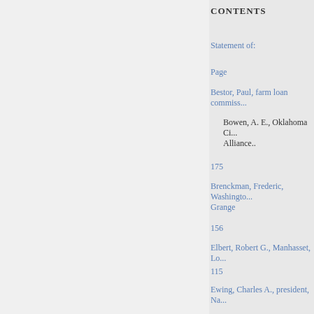CONTENTS
Statement of:
Page
Bestor, Paul, farm loan commiss...
Bowen, A. E., Oklahoma Ci... Alliance..
175
Brenckman, Frederic, Washingto... Grange
156
Elbert, Robert G., Manhasset, Lo...
115
Ewing, Charles A., president, Na... tion, Decatur, Ill.
91
Gray, Chester H., Washington re... Bureau Federation.-